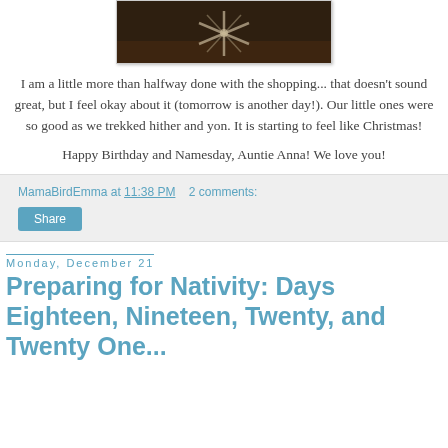[Figure (photo): Photo of a decorative snowflake ornament on a wooden table, dark/brown toned image, partially cropped at top]
I am a little more than halfway done with the shopping... that doesn't sound great, but I feel okay about it (tomorrow is another day!). Our little ones were so good as we trekked hither and yon. It is starting to feel like Christmas!
Happy Birthday and Namesday, Auntie Anna! We love you!
MamaBirdEmma at 11:38 PM   2 comments:
Share
Monday, December 21
Preparing for Nativity: Days Eighteen, Nineteen, Twenty, and Twenty One...